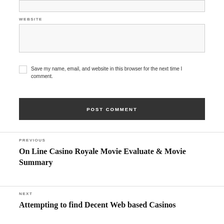WEBSITE
Save my name, email, and website in this browser for the next time I comment.
POST COMMENT
PREVIOUS
On Line Casino Royale Movie Evaluate & Movie Summary
NEXT
Attempting to find Decent Web based Casinos